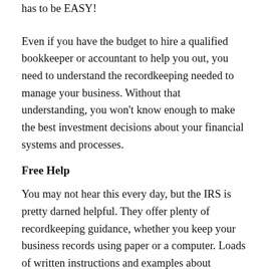has to be EASY!
Even if you have the budget to hire a qualified bookkeeper or accountant to help you out, you need to understand the recordkeeping needed to manage your business. Without that understanding, you won't know enough to make the best investment decisions about your financial systems and processes.
Free Help
You may not hear this every day, but the IRS is pretty darned helpful. They offer plenty of recordkeeping guidance, whether you keep your business records using paper or a computer. Loads of written instructions and examples about business financial records and taxes are right on their website at http://1.usa.gov/1MRdHHx. A great place to start is Publication on Starting a Business and Keeping...